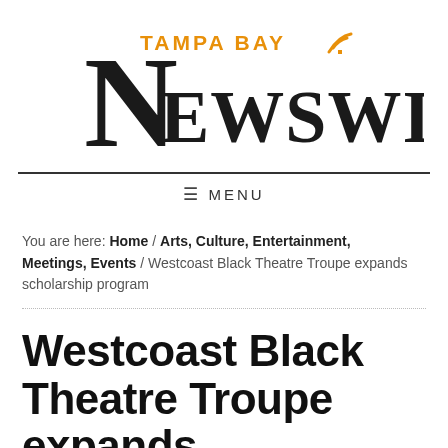[Figure (logo): Tampa Bay Newswire logo with large serif N and orange TAMPA BAY text with wifi icon]
≡ MENU
You are here: Home / Arts, Culture, Entertainment, Meetings, Events / Westcoast Black Theatre Troupe expands scholarship program
Westcoast Black Theatre Troupe expands scholarship